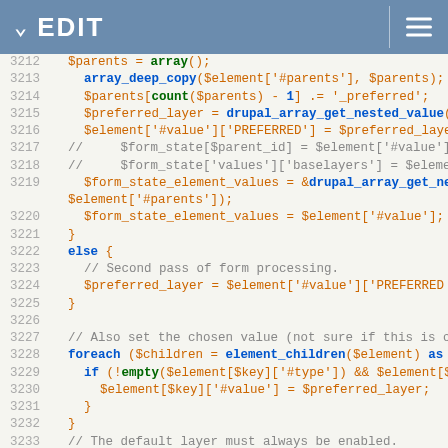EDIT
[Figure (screenshot): Code editor showing PHP source code lines 3212-3237 with syntax highlighting on a light background]